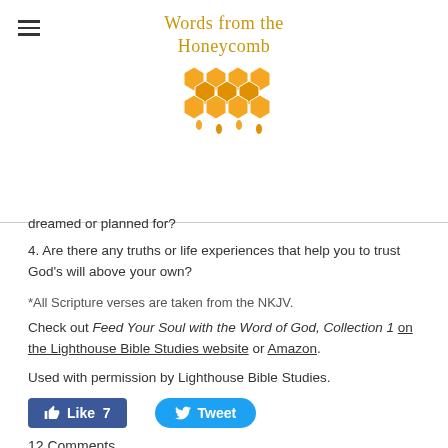Words from the Honeycomb
dreamed or planned for?
4. Are there any truths or life experiences that help you to trust God's will above your own?
*All Scripture verses are taken from the NKJV.
Check out Feed Your Soul with the Word of God, Collection 1 on the Lighthouse Bible Studies website or Amazon.
Used with permission by Lighthouse Bible Studies.
[Figure (other): Social media buttons: Like 7 (Facebook blue) and Tweet (Twitter blue)]
12 Comments
Mental Rests and